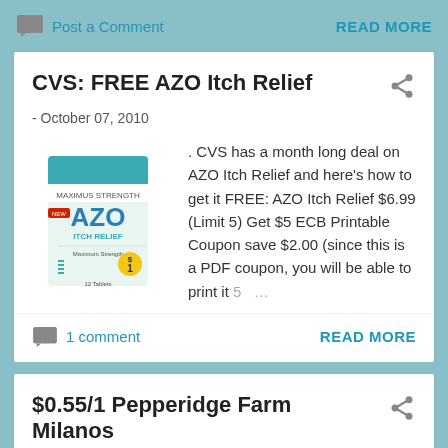Post a Comment   READ MORE
CVS: FREE AZO Itch Relief
- October 07, 2010
[Figure (photo): AZO Itch Relief product box]
. CVS has a month long deal on AZO Itch Relief and here's how to get it FREE: AZO Itch Relief $6.99 (Limit 5) Get $5 ECB Printable Coupon save $2.00 (since this is a PDF coupon, you will be able to print it 5 ...
1 comment   READ MORE
$0.55/1 Pepperidge Farm Milanos Coupon